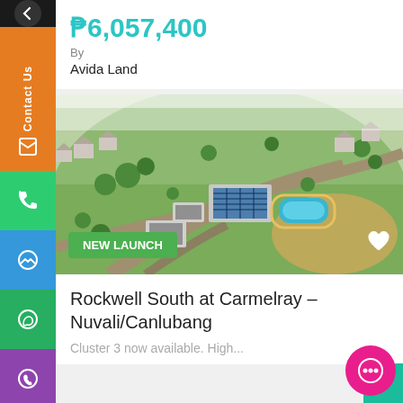₱6,057,400
By
Avida Land
[Figure (photo): Aerial view of a residential subdivision with a clubhouse, swimming pool, landscaped areas, and surrounding homes. Green label 'NEW LAUNCH' visible at bottom left.]
Rockwell South at Carmelray – Nuvali/Canlubang
Cluster 3 now available. High...